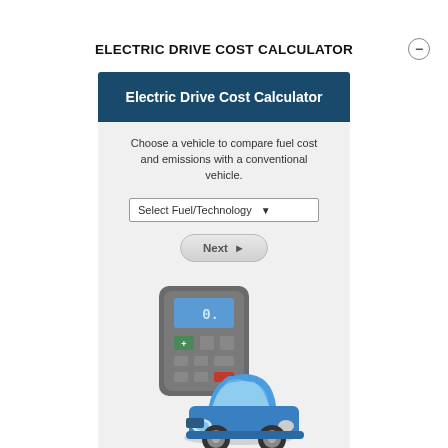ELECTRIC DRIVE COST CALCULATOR
[Figure (screenshot): Electric Drive Cost Calculator widget showing a dark blue header with title 'Electric Drive Cost Calculator', descriptive text 'Choose a vehicle to compare fuel cost and emissions with a conventional vehicle.', a dropdown labeled 'Select Fuel/Technology', a 'Next ►' button, and an illustration of a calculator with a blue car in front of it on a light gray background.]